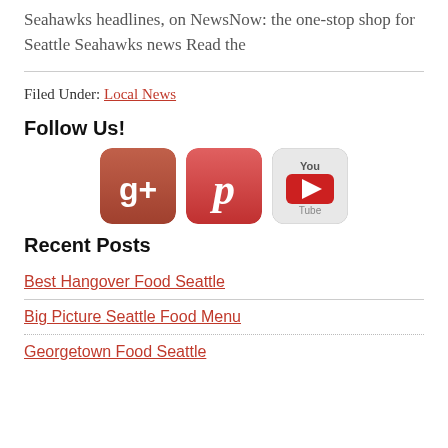Seahawks headlines, on NewsNow: the one-stop shop for Seattle Seahawks news Read the
Filed Under: Local News
Follow Us!
[Figure (other): Social media icons: Google+, Pinterest, YouTube]
Recent Posts
Best Hangover Food Seattle
Big Picture Seattle Food Menu
Georgetown Food Seattle